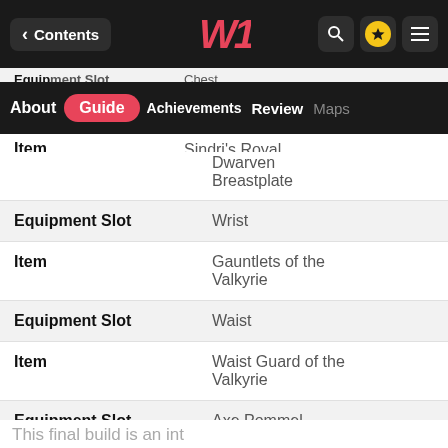< Contents | Guide | About | Achievements | Review | Maps
| Equipment Slot | Chest |
| Item | Sindri's Royal Dwarven Breastplate |
| Equipment Slot | Wrist |
| Item | Gauntlets of the Valkyrie |
| Equipment Slot | Waist |
| Item | Waist Guard of the Valkyrie |
| Equipment Slot | Axe Pommel |
| Item | Valk... |
| Equipment Slot | Grip... |
| Item | Grip... Valk... |
This final build is an int...